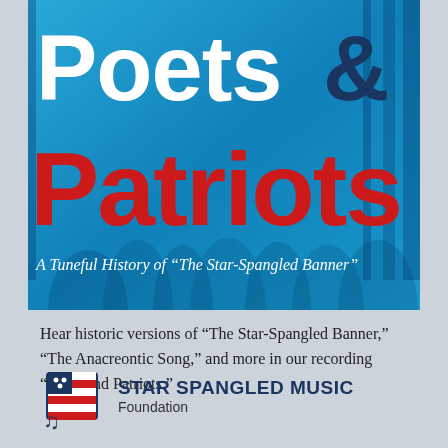[Figure (illustration): Book cover for 'Poets & Patriots: A Tuneful History of The Star-Spangled Banner'. Blue background with choir/orchestra silhouettes. 'Poets' in white large text, '&' in dark navy, 'Patriots' in large red text, subtitle in white italic below.]
Hear historic versions of "The Star-Spangled Banner," "The Anacreontic Song," and more in our recording "Poets and Patriots."
[Figure (logo): Star Spangled Music Foundation logo: stylized American flag with musical notes, navy and red colors.]